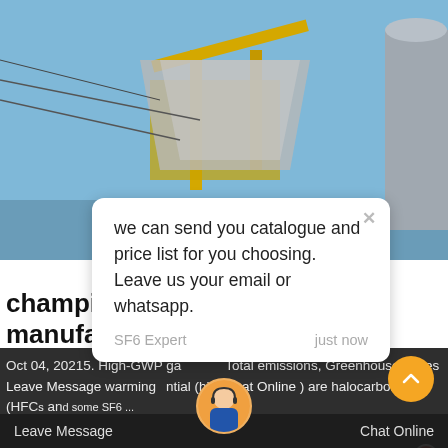[Figure (photo): Industrial SF6 analyzing plant equipment at outdoor electrical substation, yellow crane/lifting equipment visible, worker in blue coveralls in background]
we can send you catalogue and price list for you choosing.
Leave us your email or whatsapp.
SF6 Expert    just now
Write a reply..
champion SF6 analyzing plant manufacturers
Oct 04, 20215. High-GWP gas Total emissions, Greenhouse gases warming potential (high Chat Online ) are halocarbons (HFCs and some SF6 ...